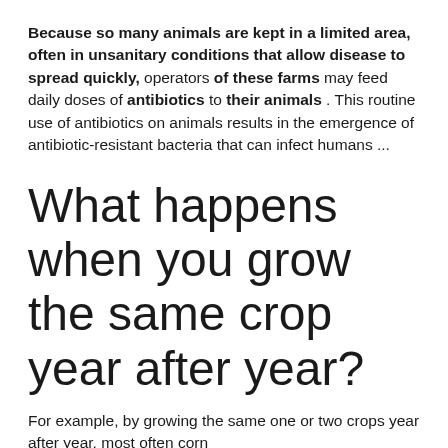Because so many animals are kept in a limited area, often in unsanitary conditions that allow disease to spread quickly, operators of these farms may feed daily doses of antibiotics to their animals . This routine use of antibiotics on animals results in the emergence of antibiotic-resistant bacteria that can infect humans ...
What happens when you grow the same crop year after year?
For example, by growing the same one or two crops year after year, most often corn